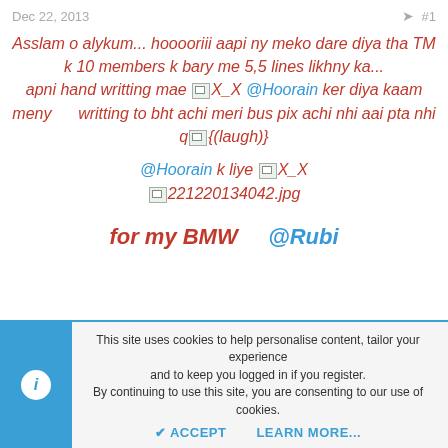Dec 22, 2013  #1
Asslam o alykum... hooooriii aapi ny meko dare diya tha TM k 10 members k bary me 5,5 lines likhny ka... apni hand writting mae [img] X_X @Hoorain ker diya kaam meny     writting to bht achi meri bus pix achi nhi aai pta nhi q[img]{(laugh)}
@Hoorain k liye [img]X_X
[img]221220134042.jpg
for my BMW    @Rubi
This site uses cookies to help personalise content, tailor your experience and to keep you logged in if you register.
By continuing to use this site, you are consenting to our use of cookies.
ACCEPT   LEARN MORE...